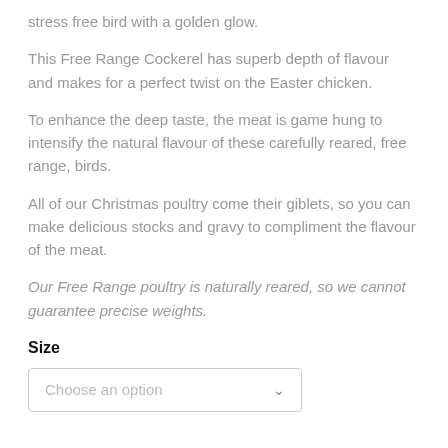stress free bird with a golden glow.
This Free Range Cockerel has superb depth of flavour and makes for a perfect twist on the Easter chicken.
To enhance the deep taste, the meat is game hung to intensify the natural flavour of these carefully reared, free range, birds.
All of our Christmas poultry come their giblets, so you can make delicious stocks and gravy to compliment the flavour of the meat.
Our Free Range poultry is naturally reared, so we cannot guarantee precise weights.
Size
Choose an option